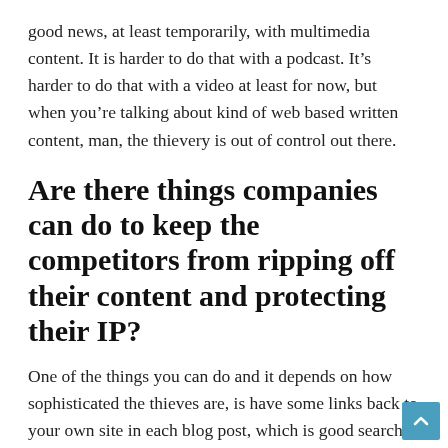good news, at least temporarily, with multimedia content. It is harder to do that with a podcast. It’s harder to do that with a video at least for now, but when you’re talking about kind of web based written content, man, the thievery is out of control out there.
Are there things companies can do to keep the competitors from ripping off their content and protecting their IP?
One of the things you can do and it depends on how sophisticated the thieves are, is have some links back to your own site in each blog post, which is good search engine optimization practices anyway. Then you could have “internal linking.” Sometimes if they’re lazy and they just copy and paste it directly and don’t